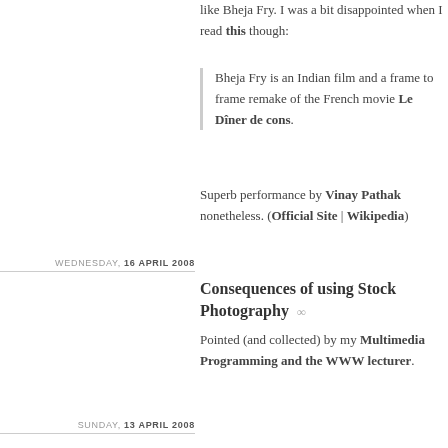like Bheja Fry. I was a bit disappointed when I read this though:
Bheja Fry is an Indian film and a frame to frame remake of the French movie Le Dîner de cons.
Superb performance by Vinay Pathak nonetheless. (Official Site | Wikipedia)
WEDNESDAY, 16 APRIL 2008
Consequences of using Stock Photography
Pointed (and collected) by my Multimedia Programming and the WWW lecturer.
SUNDAY, 13 APRIL 2008